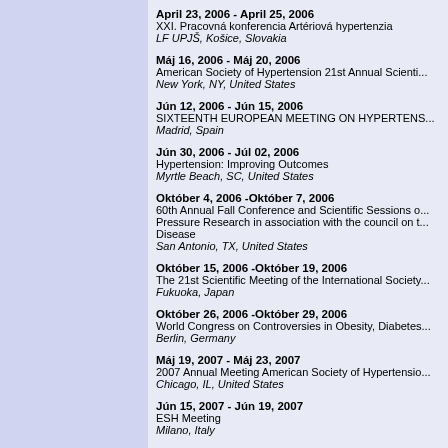April 23, 2006 - April 25, 2006
XXI. Pracovná konferencia Artériová hypertenzia
LF UPJŠ, Košice, Slovakia
Máj 16, 2006 - Máj 20, 2006
American Society of Hypertension 21st Annual Scientific Meeting
New York, NY, United States
Jún 12, 2006 - Jún 15, 2006
SIXTEENTH EUROPEAN MEETING ON HYPERTENSION
Madrid, Spain
Jún 30, 2006 - Júl 02, 2006
Hypertension: Improving Outcomes
Myrtle Beach, SC, United States
Október 4, 2006 -Október 7, 2006
60th Annual Fall Conference and Scientific Sessions on Blood Pressure Research in association with the council on the Kidney in Cardiovascular Disease
San Antonio, TX, United States
Október 15, 2006 -Október 19, 2006
The 21st Scientific Meeting of the International Society of Hypertension
Fukuoka, Japan
Október 26, 2006 -Október 29, 2006
World Congress on Controversies in Obesity, Diabetes and Hypertension
Berlin, Germany
Máj 19, 2007 - Máj 23, 2007
2007 Annual Meeting American Society of Hypertension
Chicago, IL, United States
Jún 15, 2007 - Jún 19, 2007
ESH Meeting
Milano, Italy